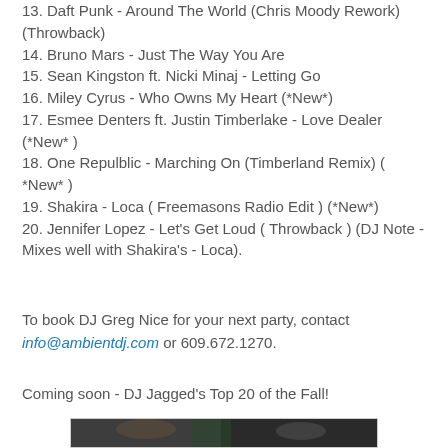13. Daft Punk - Around The World (Chris Moody Rework) (Throwback)
14. Bruno Mars - Just The Way You Are
15. Sean Kingston ft. Nicki Minaj - Letting Go
16. Miley Cyrus - Who Owns My Heart (*New*)
17. Esmee Denters ft. Justin Timberlake - Love Dealer (*New* )
18. One Repulblic - Marching On (Timberland Remix) ( *New* )
19. Shakira - Loca ( Freemasons Radio Edit ) (*New*)
20. Jennifer Lopez - Let's Get Loud ( Throwback ) (DJ Note - Mixes well with Shakira's - Loca).
To book DJ Greg Nice for your next party, contact info@ambientdj.com or 609.672.1270.
Coming soon - DJ Jagged's Top 20 of the Fall!
[Figure (photo): Two men photographed together at what appears to be a party or event, dark background with green lighting visible.]